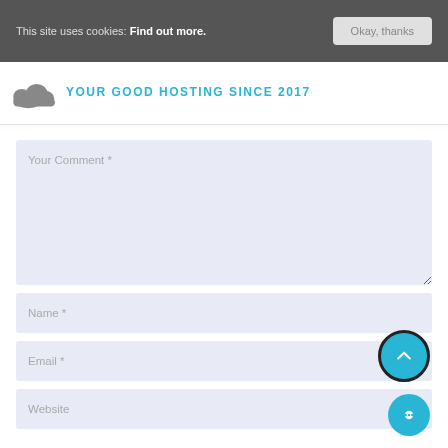This site uses cookies: Find out more.  [Okay, thanks]
[Figure (logo): Cloud logo with tagline YOUR GOOD HOSTING SINCE 2017 in cyan text]
Your Comment *
Name *
Email *
Website